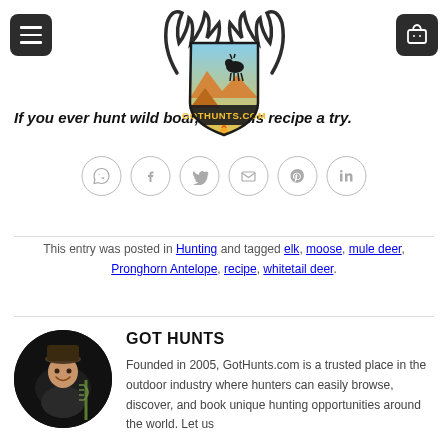[Figure (logo): GotHunts.com logo — shield shape with golden yellow gradient, mountain background, mountain goat silhouette, antlers on sides, campfire at bottom, text GOTHUNTS.COM]
If you ever hunt wild boar, give this recipe a try.
[Figure (infographic): Row of six social sharing icon circles: WhatsApp, Facebook, Twitter, Email, Pinterest, LinkedIn]
This entry was posted in Hunting and tagged elk, moose, mule deer, Pronghorn Antelope, recipe, whitetail deer.
[Figure (photo): Circular cropped photo of a man smiling, holding a hunting bow with arrows, wearing hunting gear, dark background]
GOT HUNTS
Founded in 2005, GotHunts.com is a trusted place in the outdoor industry where hunters can easily browse, discover, and book unique hunting opportunities around the world. Let us